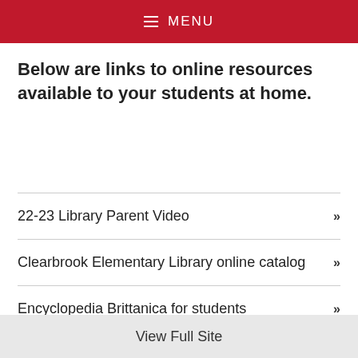MENU
Below are links to online resources available to your students at home.
22-23 Library Parent Video »
Clearbrook Elementary Library online catalog »
Encyclopedia Brittanica for students »
View Full Site